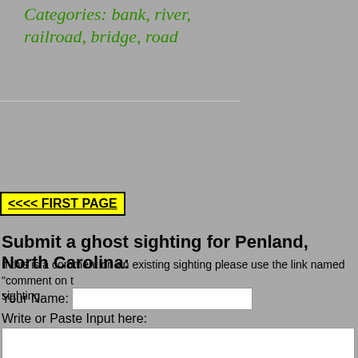Categories: bank, river, railroad, bridge, road
<<<< FIRST PAGE
Submit a ghost sighting for Penland, North Carolina:
If this is a comment on an existing sighting please use the link named "comment on t sighting.
Your Name:
Write or Paste Input here: